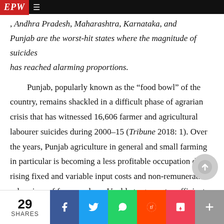EPW
, Andhra Pradesh, Maharashtra, Karnataka, and Punjab are the worst-hit states where the magnitude of suicides has reached alarming proportions.
Punjab, popularly known as the “food bowl” of the country, remains shackled in a difficult phase of agrarian crisis that has witnessed 16,606 farmer and agricultural labourer suicides during 2000–15 (Tribune 2018: 1). Over the years, Punjab agriculture in general and small farming in particular is becoming a less profitable occupation due to rising fixed and variable input costs and non-remunerative sale prices of farm produce. Unable to generate sufficient earnings due to capital intensive technologies, small farmers have been leaving farming. As a result, around 2 lakh small farmers, who w
29 SHARES